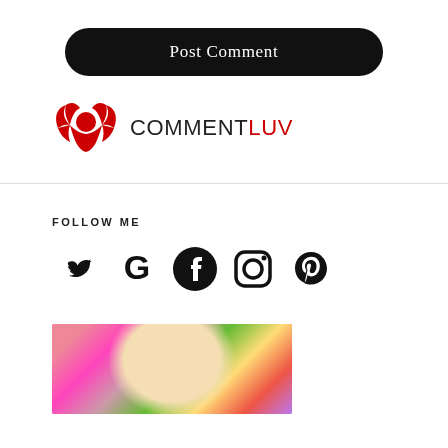[Figure (other): Post Comment button — black rounded rectangle with white serif text]
[Figure (logo): CommentLuv logo: red bird/wings icon on left, text COMMENT in dark gray and LUV in red]
[Figure (other): FOLLOW ME section header with social media icons: Twitter, Google, Facebook, Instagram, Pinterest]
[Figure (photo): Partial photo of a woman with blonde hair against colorful swirled background artwork]